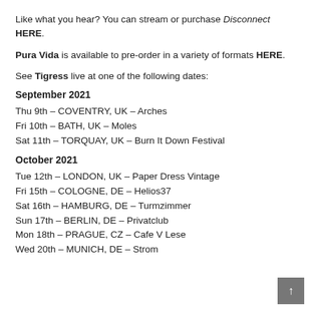Like what you hear? You can stream or purchase Disconnect HERE.
Pura Vida is available to pre-order in a variety of formats HERE.
See Tigress live at one of the following dates:
September 2021
Thu 9th – COVENTRY, UK – Arches
Fri 10th – BATH, UK – Moles
Sat 11th – TORQUAY, UK – Burn It Down Festival
October 2021
Tue 12th – LONDON, UK – Paper Dress Vintage
Fri 15th – COLOGNE, DE – Helios37
Sat 16th – HAMBURG, DE – Turmzimmer
Sun 17th – BERLIN, DE – Privatclub
Mon 18th – PRAGUE, CZ – Cafe V Lese
Wed 20th – MUNICH, DE – Strom